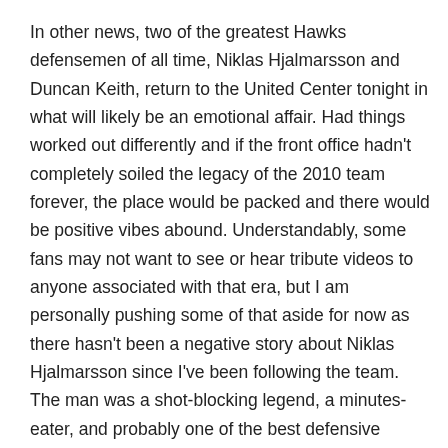In other news, two of the greatest Hawks defensemen of all time, Niklas Hjalmarsson and Duncan Keith, return to the United Center tonight in what will likely be an emotional affair. Had things worked out differently and if the front office hadn't completely soiled the legacy of the 2010 team forever, the place would be packed and there would be positive vibes abound. Understandably, some fans may not want to see or hear tribute videos to anyone associated with that era, but I am personally pushing some of that aside for now as there hasn't been a negative story about Niklas Hjalmarsson since I've been following the team. The man was a shot-blocking legend, a minutes-eater, and probably one of the best defensive defensemen of his era. His recognition is well-deserved and he seems like a good guy.